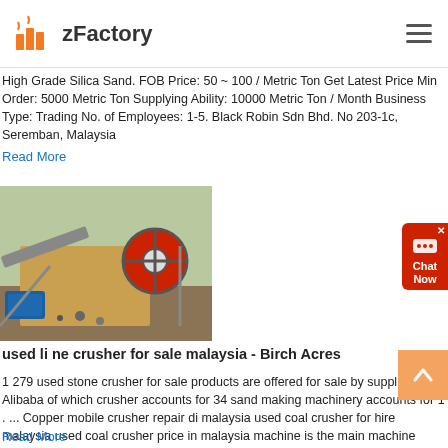zFactory
High Grade Silica Sand. FOB Price: 50 ~ 100 / Metric Ton Get Latest Price Min Order: 5000 Metric Ton Supplying Ability: 10000 Metric Ton / Month Business Type: Trading No. of Employees: 1-5. Black Robin Sdn Bhd. No 203-1c, Seremban, Malaysia
Read More
[Figure (photo): Photo of a used stone crusher machine outdoors, showing a jaw crusher with blue motor and red flywheel]
used li ne crusher for sale malaysia - Birch Acres
1 279 used stone crusher for sale products are offered for sale by suppliers on Alibaba of which crusher accounts for 34 sand making machinery accounts for 1 . ... Copper mobile crusher repair di malaysia used coal crusher for hire malaysia used coal crusher price in malaysia machine is the main machine portable coal impact crusher
Read More